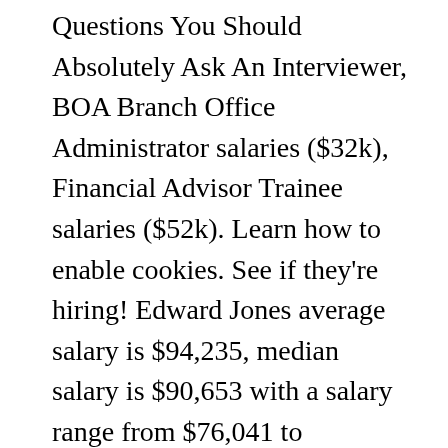Questions You Should Absolutely Ask An Interviewer, BOA Branch Office Administrator salaries ($32k), Financial Advisor Trainee salaries ($52k). Learn how to enable cookies. See if they're hiring! Edward Jones average salary is $94,235, median salary is $90,653 with a salary range from $76,041 to $128,606. Apply to Front Office Manager, Home Manager, Office Manager and more! ... Jobs at Edward Jones. An investment company that offers a personal approach to investing. When factoring in bonuses and additional compensation, a Team Leader at Edward Jones can expect to make an average total pay of $88,812 . This estimate is based upon 5 Edward Jones Department Leader salary report(s) provided by